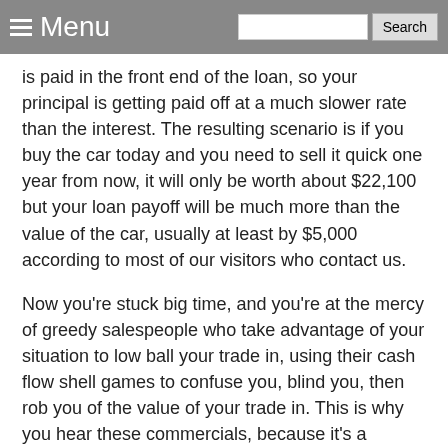Menu Search
is paid in the front end of the loan, so your principal is getting paid off at a much slower rate than the interest. The resulting scenario is if you buy the car today and you need to sell it quick one year from now, it will only be worth about $22,100 but your loan payoff will be much more than the value of the car, usually at least by $5,000 according to most of our visitors who contact us.
Now you're stuck big time, and you're at the mercy of greedy salespeople who take advantage of your situation to low ball your trade in, using their cash flow shell games to confuse you, blind you, then rob you of the value of your trade in. This is why you hear these commercials, because it's a feeding frenzy, and you're the feast, they prey on thousands of financially uninformed consumers just like